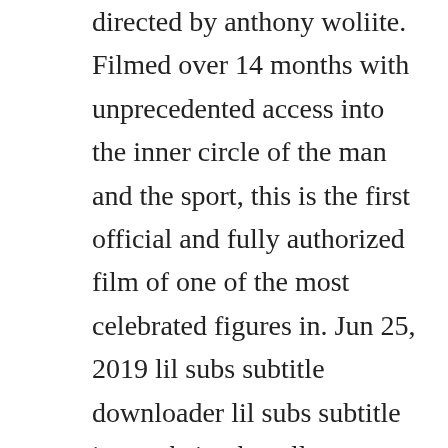directed by anthony woliite. Filmed over 14 months with unprecedented access into the inner circle of the man and the sport, this is the first official and fully authorized film of one of the most celebrated figures in. Jun 25, 2019 lil subs subtitle downloader lil subs subtitle is a website that allows you to download subtitles from third party sources. This biographical documentary chronicles the life and career of christiana ronaldo, a portugese footballer who rose to fame playing for both an italian professional team and the portuguese national team. Ronaldo the movie